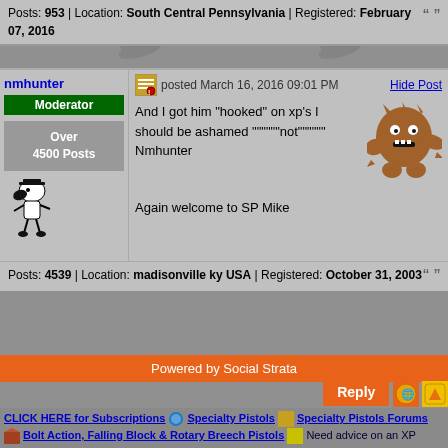Posts: 953 | Location: South Central Pennsylvania | Registered: February 07, 2016
nmhunter
Moderator
posted March 16, 2016 09:01 PM
Hide Post
[Figure (illustration): Small cartoon monster/creature pixelart in brown color]
And I got him "hooked" on xp's I should be ashamed """""""not""""""" Nmhunter
Over 4500 Posts
[Figure (illustration): Snoopy walking pixel art avatar]
Again welcome to SP Mike
Posts: 4539 | Location: madisonville ky USA | Registered: October 31, 2003
Powered by Social Strata
Reply
CLICK HERE for Subscriptions  Specialty Pistols  Specialty Pistols Forums  Bolt Action, Falling Block & Rotary Breech Pistols  Need advice on an XP build.
Contact Us | CLICK HERE for Subscriptions | Terms of Service
© Specialty Pistols 2003 - 2021 All Rights Reserved. All Material Contained Here Is Protected And May NOT Be Reproduced, Copied or Distributed, in any form, Without Written Permission. "Specialty Pistols", "Specialty Pistols Bulletin Board" and